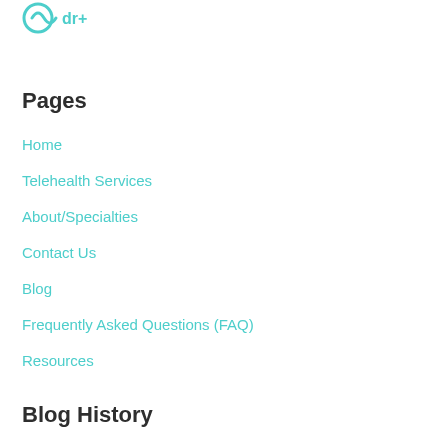[Figure (logo): Teal/turquoise logo graphic at top left]
Pages
Home
Telehealth Services
About/Specialties
Contact Us
Blog
Frequently Asked Questions (FAQ)
Resources
Blog History